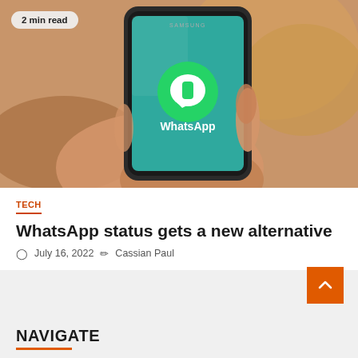[Figure (photo): Person holding a Samsung smartphone showing the WhatsApp logo and name on a teal screen, photographed from behind with a blurred warm background. A '2 min read' badge appears in the top-left corner of the image.]
TECH
WhatsApp status gets a new alternative
July 16, 2022  Cassian Paul
NAVIGATE